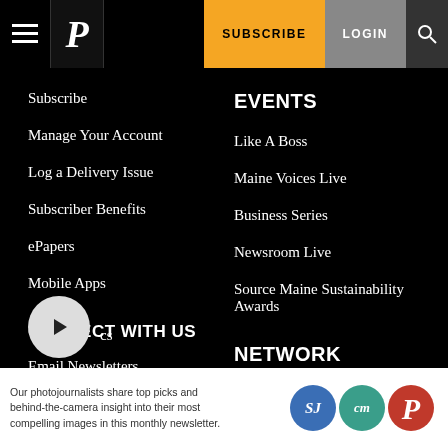SUBSCRIBE | LOGIN
Subscribe
Manage Your Account
Log a Delivery Issue
Subscriber Benefits
ePapers
Mobile Apps
EVENTS
Like A Boss
Maine Voices Live
Business Series
Newsroom Live
Source Maine Sustainability Awards
CONNECT WITH US
Email Newsletters
NETWORK
Work Here
Centralmaine.com
Our photojournalists share top picks and behind-the-camera insight into their most compelling images in this monthly newsletter.